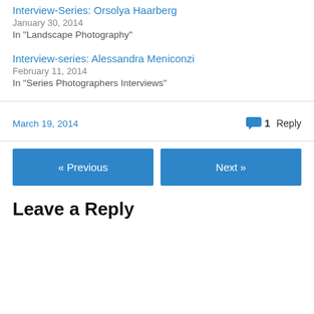Interview-Series: Orsolya Haarberg
January 30, 2014
In "Landscape Photography"
Interview-series: Alessandra Meniconzi
February 11, 2014
In "Series Photographers Interviews"
March 19, 2014
1 Reply
« Previous
Next »
Leave a Reply